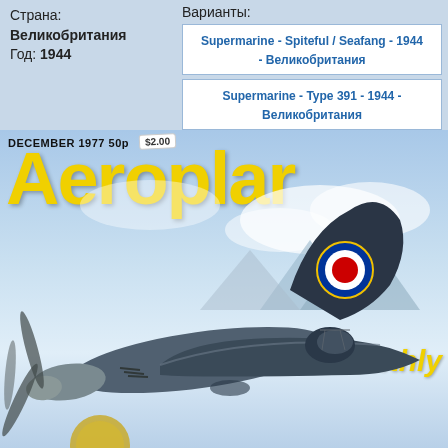Страна: Великобритания
Год: 1944
Варианты:
Supermarine - Spiteful / Seafang - 1944 - Великобритания
Supermarine - Type 391 - 1944 - Великобритания
[Figure (photo): Cover of Aeroplane Monthly magazine, December 1977, 50p price (sticker $2.00), showing a model aircraft (Supermarine Spiteful) with RAF roundel on tail, yellow 'Aeroplane monthly' title text, blue sky and mountains background.]